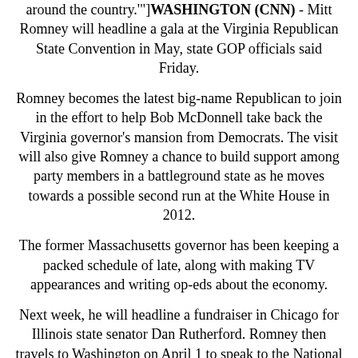around the country.'"] WASHINGTON (CNN) - Mitt Romney will headline a gala at the Virginia Republican State Convention in May, state GOP officials said Friday.
Romney becomes the latest big-name Republican to join in the effort to help Bob McDonnell take back the Virginia governor's mansion from Democrats. The visit will also give Romney a chance to build support among party members in a battleground state as he moves towards a possible second run at the White House in 2012.
The former Massachusetts governor has been keeping a packed schedule of late, along with making TV appearances and writing op-eds about the economy.
Next week, he will headline a fundraiser in Chicago for Illinois state senator Dan Rutherford. Romney then travels to Washington on April 1 to speak to the National Republican Senatorial Committee annual fundraising dinner, followed by a trip to New York City the next day to raise cash for the New York County Republican Party.
"He is staying active politically and doing what he can to help Republican party organizations and individual candidates as we head into the critical 2010 elections," said Romney spokesman